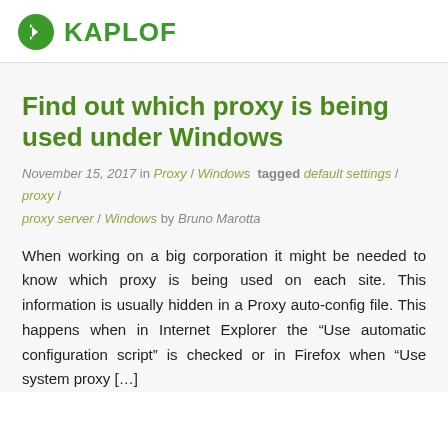KAPLOF
Find out which proxy is being used under Windows
November 15, 2017 in Proxy / Windows tagged default settings / proxy / proxy server / Windows by Bruno Marotta
When working on a big corporation it might be needed to know which proxy is being used on each site. This information is usually hidden in a Proxy auto-config file. This happens when in Internet Explorer the “Use automatic configuration script” is checked or in Firefox when “Use system proxy […]